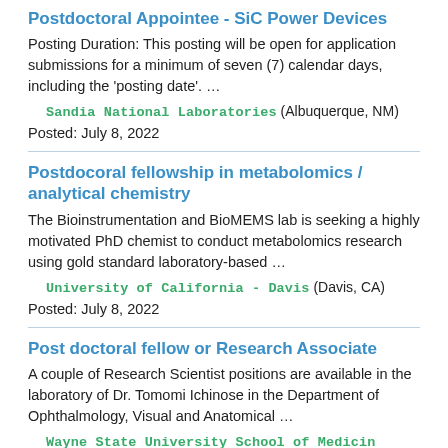Postdoctoral Appointee - SiC Power Devices
Posting Duration: This posting will be open for application submissions for a minimum of seven (7) calendar days, including the 'posting date'. …
Sandia National Laboratories (Albuquerque, NM)
Posted: July 8, 2022
Postdocoral fellowship in metabolomics / analytical chemistry
The Bioinstrumentation and BioMEMS lab is seeking a highly motivated PhD chemist to conduct metabolomics research using gold standard laboratory-based …
University of California - Davis (Davis, CA)
Posted: July 8, 2022
Post doctoral fellow or Research Associate
A couple of Research Scientist positions are available in the laboratory of Dr. Tomomi Ichinose in the Department of Ophthalmology, Visual and Anatomical …
Wayne State University School of Medicin (Detroit, MI)